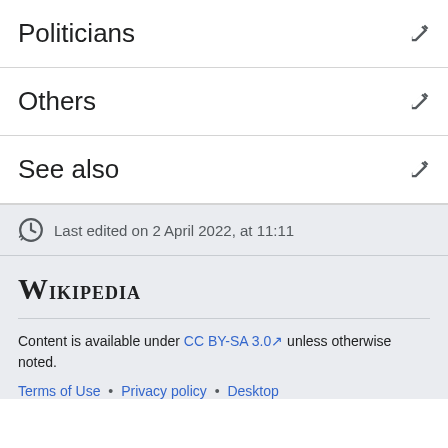Politicians
Others
See also
Last edited on 2 April 2022, at 11:11
Wikipedia
Content is available under CC BY-SA 3.0 unless otherwise noted.
Terms of Use • Privacy policy • Desktop